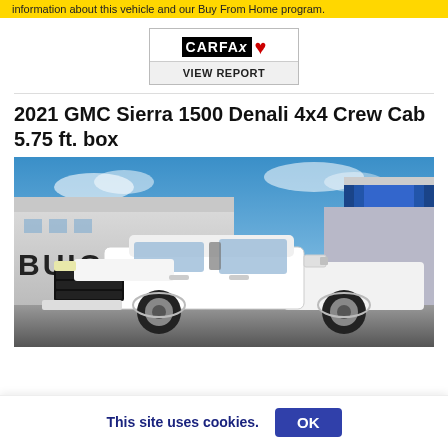information about this vehicle and our Buy From Home program.
[Figure (logo): CARFAX Canada logo with maple leaf and VIEW REPORT button]
2021 GMC Sierra 1500 Denali 4x4 Crew Cab 5.75 ft. box
[Figure (photo): White 2021 GMC Sierra 1500 Denali pickup truck parked in front of a Buick dealership with blue sky background]
This site uses cookies.